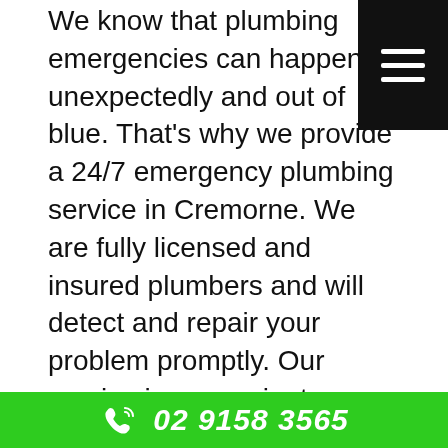We know that plumbing emergencies can happen unexpectedly and out of blue. That's why we provide a 24/7 emergency plumbing service in Cremorne. We are fully licensed and insured plumbers and will detect and repair your problem promptly. Our service is convenient, reliable and always on time. We are Cremorne's trusted after hour's plumber. If you're after a 24/7 emergency plumber in Cremorne, give our friendly team a call on 02 9158 3565 now and we'll have a licensed plumber out to you as soon as possible!
Plumber Near Me
If you're on the hunt wondering 'where can I find a plumber near me?' – We've got you covered! We
02 9158 3565